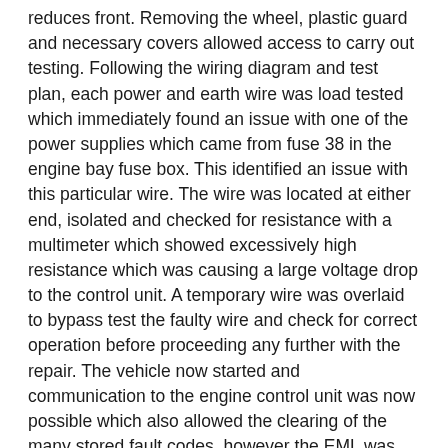reduces front. Removing the wheel, plastic guard and necessary covers allowed access to carry out testing. Following the wiring diagram and test plan, each power and earth wire was load tested which immediately found an issue with one of the power supplies which came from fuse 38 in the engine bay fuse box. This identified an issue with this particular wire. The wire was located at either end, isolated and checked for resistance with a multimeter which showed excessively high resistance which was causing a large voltage drop to the control unit. A temporary wire was overlaid to bypass test the faulty wire and check for correct operation before proceeding any further with the repair. The vehicle now started and communication to the engine control unit was now possible which also allowed the clearing of the many stored fault codes, however the EML was illuminated as per the customer's initial complaint so the fault codes were checked again which revealed a fault code – P2033 "Exhaust gas temperature sensor 2 Circuit high." Being wary of time, I decided to carry out some basic wiring checks as I had the control unit exposed and a diagnosis could also be made for the fault. Testing the wiring at the sensor found no voltage supply but a ground which indicated either an open or short in the supply wire from the control unit.
Temperature versus resistance